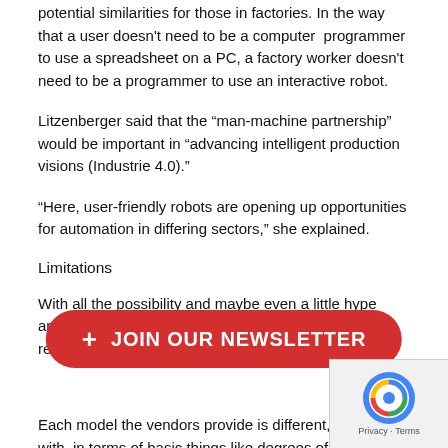potential similarities for those in factories. In the way that a user doesn't need to be a computer programmer to use a spreadsheet on a PC, a factory worker doesn't need to be a programmer to use an interactive robot.
Litzenberger said that the “man-machine partnership” would be important in “advancing intelligent production visions (Industrie 4.0).”
“Here, user-friendly robots are opening up opportunities for automation in differing sectors,” she explained.
Limitations
With all the possibility and maybe even a little hype around the collaborative robots out there, it’s probably reasonable to remind ourselves that they can’t d…
[Figure (other): Red pill-shaped JOIN OUR NEWSLETTER button overlay]
Each model the vendors provide is different, to begin with, in terms of basic things like degrees of freedom, speed, repe… and payload.
Speaking of payload, this is only a few kilograms for most. (A…